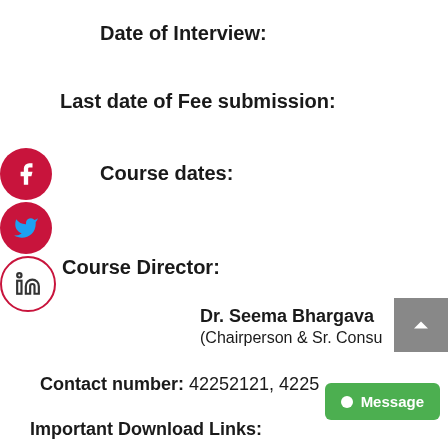Date of Interview:
Last date of Fee submission:
Course dates:
Course Director:
Dr. Seema Bhargava
(Chairperson & Sr. Consu
Contact number: 42252121, 4225...12
Important Download Links: